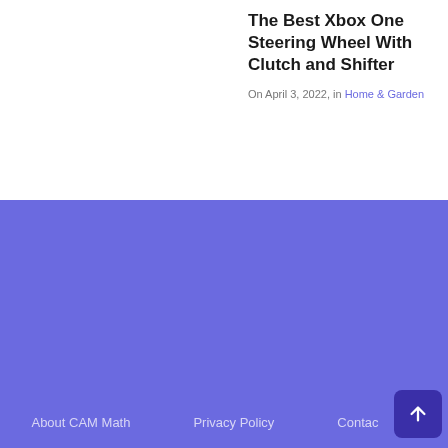The Best Xbox One Steering Wheel With Clutch and Shifter
On April 3, 2022, in Home & Garden
About CAM Math   Privacy Policy   Contact